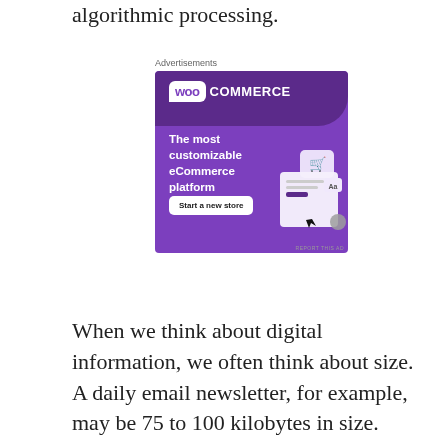algorithmic processing.
[Figure (illustration): WooCommerce advertisement banner with purple background. Shows WooCommerce logo (speech bubble with 'woo' and 'COMMERCE' text), tagline 'The most customizable eCommerce platform', a 'Start a new store' button, and UI mockup graphics. Label 'Advertisements' appears above.]
When we think about digital information, we often think about size. A daily email newsletter, for example, may be 75 to 100 kilobytes in size.